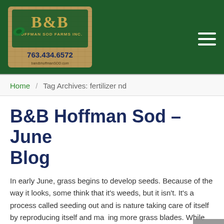[Figure (logo): B&B Hoffman Sod Farms Inc logo on burlap background with phone number 763.434.6572]
Home / Tag Archives: fertilizer nd
B&B Hoffman Sod – June Blog
In early June, grass begins to develop seeds. Because of the way it looks, some think that it's weeds, but it isn't. It's a process called seeding out and is nature taking care of itself by reproducing itself and making more grass blades. While this happens, continue to mow your lawn to 3 inches high and apply your